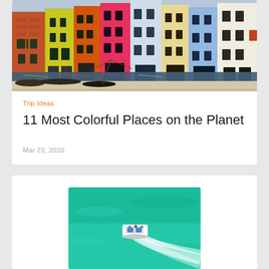[Figure (photo): Colorful buildings along a canal in Burano, Venice, Italy with boats moored in the water]
Trip Ideas
11 Most Colorful Places on the Planet
Mar 23, 2020
[Figure (photo): Aerial view of a boat on turquoise water leaving a white wake]